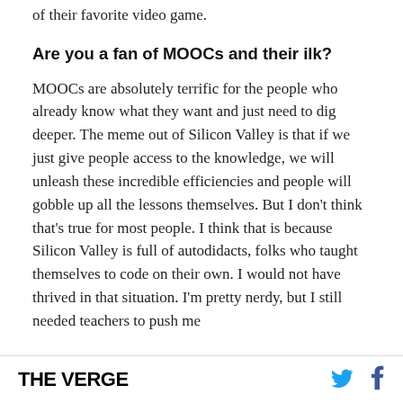of their favorite video game.
Are you a fan of MOOCs and their ilk?
MOOCs are absolutely terrific for the people who already know what they want and just need to dig deeper. The meme out of Silicon Valley is that if we just give people access to the knowledge, we will unleash these incredible efficiencies and people will gobble up all the lessons themselves. But I don't think that's true for most people. I think that is because Silicon Valley is full of autodidacts, folks who taught themselves to code on their own. I would not have thrived in that situation. I'm pretty nerdy, but I still needed teachers to push me
THE VERGE